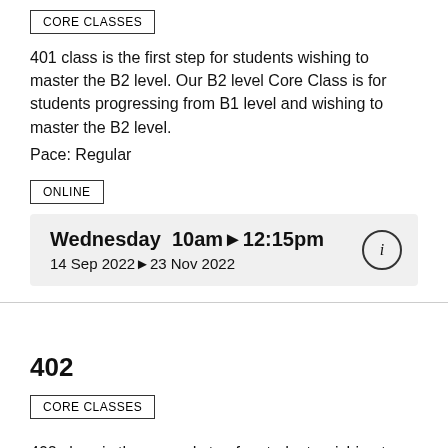CORE CLASSES
401 class is the first step for students wishing to master the B2 level. Our B2 level Core Class is for students progressing from B1 level and wishing to master the B2 level.
Pace: Regular
ONLINE
Wednesday  10am▶12:15pm
14 Sep 2022▶23 Nov 2022
402
CORE CLASSES
402 class is the second step for students wishing to master the B2 level. Our B2 level Core Classes are for students progressing from B1 level and wishing to